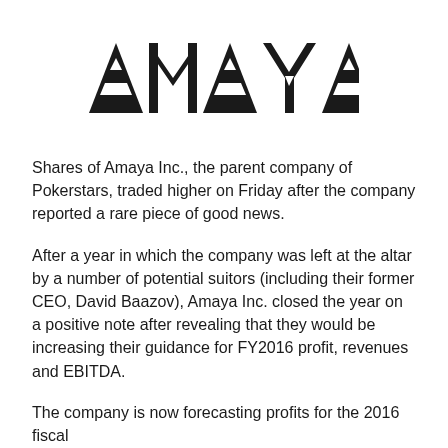[Figure (logo): AMAYA logo in large bold geometric black lettering with small triangle accents inside the letters A and Y]
Shares of Amaya Inc., the parent company of Pokerstars, traded higher on Friday after the company reported a rare piece of good news.
After a year in which the company was left at the altar by a number of potential suitors (including their former CEO, David Baazov), Amaya Inc. closed the year on a positive note after revealing that they would be increasing their guidance for FY2016 profit, revenues and EBITDA.
The company is now forecasting profits for the 2016 fiscal